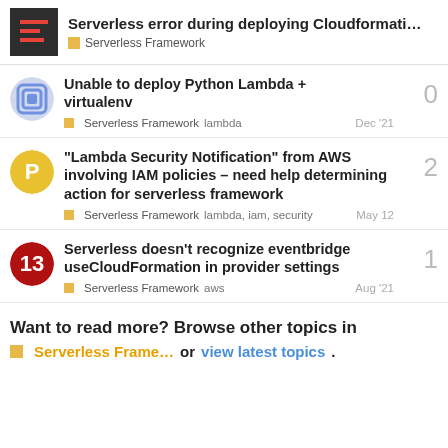Serverless error during deploying Cloudformati... — Serverless Framework
Unable to deploy Python Lambda + virtualenv — Serverless Framework, lambda — Dec '21 — 0 replies
"Lambda Security Notification" from AWS involving IAM policies – need help determining action for serverless framework — Serverless Framework, lambda, iam, security — May 12 — 2 replies
Serverless doesn't recognize eventbridge useCloudFormation in provider settings — Serverless Framework, aws — Aug '21 — 1 reply
Want to read more? Browse other topics in Serverless Frame... or view latest topics.